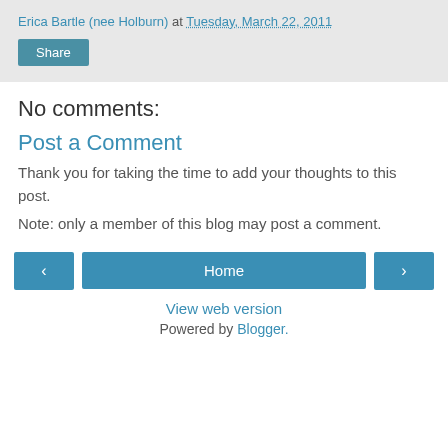Erica Bartle (nee Holburn) at Tuesday, March 22, 2011
Share
No comments:
Post a Comment
Thank you for taking the time to add your thoughts to this post.
Note: only a member of this blog may post a comment.
‹  Home  ›
View web version
Powered by Blogger.